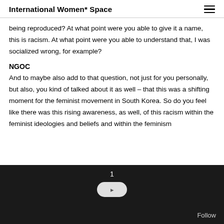International Women* Space
being reproduced? At what point were you able to give it a name, this is racism. At what point were you able to understand that, I was socialized wrong, for example?
NGOC
And to maybe also add to that question, not just for you personally, but also, you kind of talked about it as well – that this was a shifting moment for the feminist movement in South Korea. So do you feel like there was this rising awareness, as well, of this racism within the feminist ideologies and beliefs and within the feminism
1  Follow